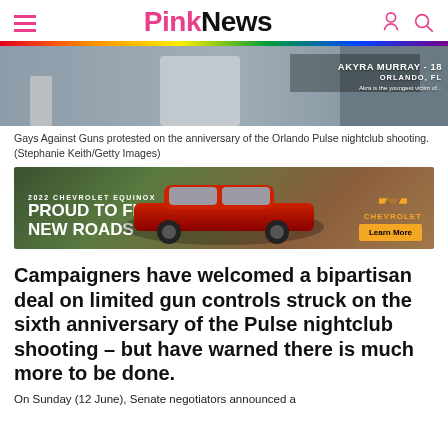PinkNews
[Figure (photo): Gays Against Guns protest photo showing protesters; overlay text reads AKYRA MURRAY - 18, ORLANDO, FL]
Gays Against Guns protested on the anniversary of the Orlando Pulse nightclub shooting. (Stephanie Keith/Getty Images)
[Figure (photo): 2022 Chevrolet Equinox advertisement: Proud to Find New Roads. Chevrolet. Learn More.]
Campaigners have welcomed a bipartisan deal on limited gun controls struck on the sixth anniversary of the Pulse nightclub shooting – but have warned there is much more to be done.
On Sunday (12 June), Senate negotiators announced a